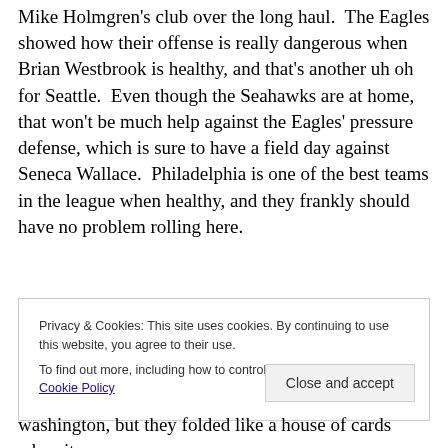Mike Holmgren's club over the long haul.  The Eagles showed how their offense is really dangerous when Brian Westbrook is healthy, and that's another uh oh for Seattle.  Even though the Seahawks are at home, that won't be much help against the Eagles' pressure defense, which is sure to have a field day against Seneca Wallace.  Philadelphia is one of the best teams in the league when healthy, and they frankly should have no problem rolling here.
Privacy & Cookies: This site uses cookies. By continuing to use this website, you agree to their use. To find out more, including how to control cookies, see here: Cookie Policy
washington, but they folded like a house of cards when it